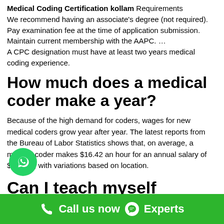Medical Coding Certification kollam Requirements
We recommend having an associate's degree (not required). Pay examination fee at the time of application submission. Maintain current membership with the AAPC. … A CPC designation must have at least two years medical coding experience.
How much does a medical coder make a year?
Because of the high demand for coders, wages for new medical coders grow year after year. The latest reports from the Bureau of Labor Statistics shows that, on average, a medical coder makes $16.42 an hour for an annual salary of $34,000, with variations based on location.
Can I teach myself Medical
Call us now  Experts